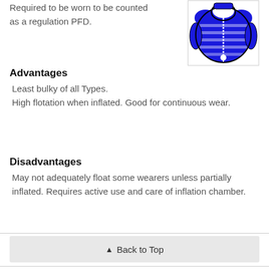Required to be worn to be counted as a regulation PFD.
[Figure (illustration): Illustration of a blue inflatable PFD (personal flotation device) vest, shown from the front with zipper and inflation mechanism visible.]
Advantages
Least bulky of all Types.
High flotation when inflated. Good for continuous wear.
Disadvantages
May not adequately float some wearers unless partially inflated. Requires active use and care of inflation chamber.
▲ Back to Top